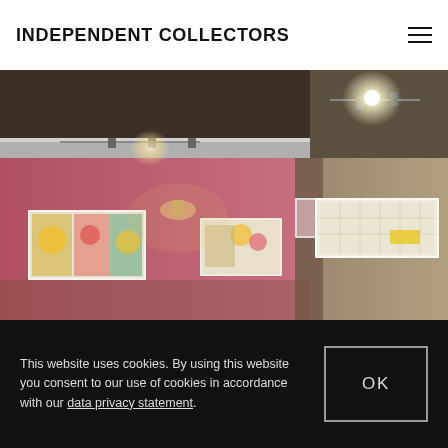INDEPENDENT COLLECTORS
[Figure (photo): Interior view of an art gallery with pink walls and track lighting. Artworks hang on both pink and beige walls. Three paintings visible on the left pink wall and a large horizontal artwork on the right beige wall.]
This website uses cookies. By using this website you consent to our use of cookies in accordance with our data privacy statement.